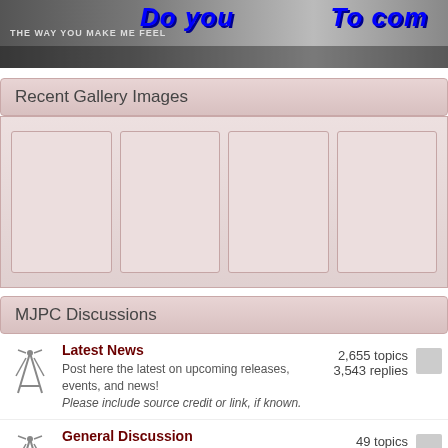[Figure (screenshot): Website banner with bold blue italic text 'Do you' and 'To com' on a dark photo background]
Recent Gallery Images
[Figure (other): Four empty/placeholder gallery image thumbnails in a pink-toned row]
MJPC Discussions
Latest News
Post here the latest on upcoming releases, events, and news!
Please include source credit or link, if known.
2,655 topics
3,543 replies
General Discussion
Discuss here anything and everything about our King Of Pop!
49 topics
839 replies